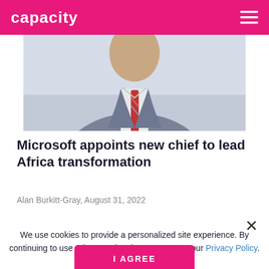capacity
[Figure (photo): Photo of a man in a grey suit and striped tie, cropped to show shoulders and chest]
Microsoft appoints new chief to lead Africa transformation
Alan Burkitt-Gray, August 31, 2022
We use cookies to provide a personalized site experience. By continuing to use & browse the site you agree to our Privacy Policy.
I AGREE